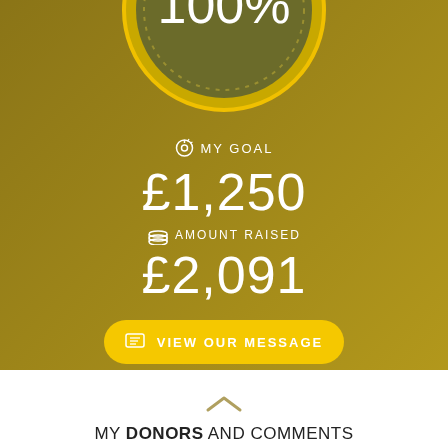[Figure (infographic): Circular progress indicator showing 100% completion with dotted yellow border on dark olive/gold background]
MY GOAL
£1,250
AMOUNT RAISED
£2,091
VIEW OUR MESSAGE
MY DONORS AND COMMENTS